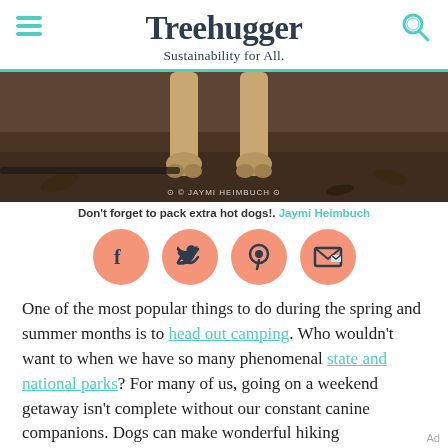Treehugger
Sustainability for All.
[Figure (photo): Close-up photo of dog legs and paws on dirt ground with leaves. Photo credit: © JAYMI HEIMBUCH]
Don't forget to pack extra hot dogs!. Jaymi Heimbuch
[Figure (infographic): Four salmon/coral colored circular social share buttons: Facebook (f), Twitter (bird), Pinterest (P), Email (envelope)]
One of the most popular things to do during the spring and summer months is to head out camping. Who wouldn't want to when we have so many phenomenal state and national parks? For many of us, going on a weekend getaway isn't complete without our constant canine companions. Dogs can make wonderful hiking